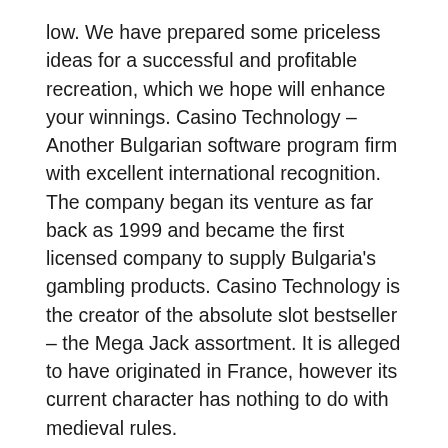low. We have prepared some priceless ideas for a successful and profitable recreation, which we hope will enhance your winnings. Casino Technology – Another Bulgarian software program firm with excellent international recognition. The company began its venture as far back as 1999 and became the first licensed company to supply Bulgaria's gambling products. Casino Technology is the creator of the absolute slot bestseller – the Mega Jack assortment. It is alleged to have originated in France, however its current character has nothing to do with medieval rules.
Contact customer assist or an account supervisor at the casino for information on how finest to handle your jackpot wins. Some casinos provides you with a choice of the game or video games to play with your free slot bonuses. Which one you select will depend on whether or not you wish to gamble or whether or not you need to lock in the bonus cash. Key to this decision is the volatility of the game you choose. Some slots give massive wins infrequently; others have smaller and extra common